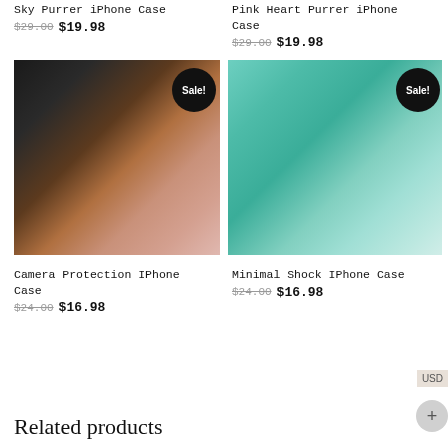Sky Purrer iPhone Case
$29.00 $19.98
Pink Heart Purrer iPhone Case
$29.00 $19.98
[Figure (photo): Two iPhone cases held in hands - brown and pink matte cases with camera protection]
[Figure (photo): Teal/mint green iPhone case with Brave Girls text design]
Camera Protection IPhone Case
$24.00 $16.98
Minimal Shock IPhone Case
$24.00 $16.98
Related products